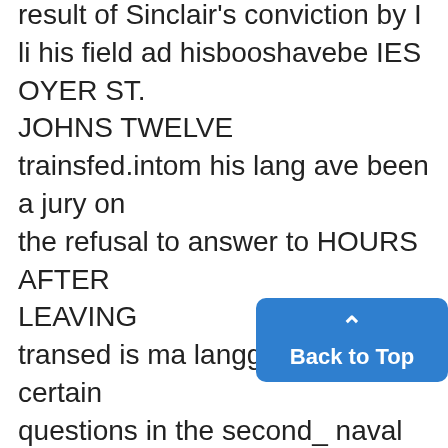result of Sinclair's conviction by I li his field ad hisbooshavebe IES OYER ST. JOHNS TWELVE trainsfed.intom his lang ave been a jury on the refusal to answer to HOURS AFTER LEAVING transed is ma langges, ntof certain questions in the second_ naval ROOSEVELT FIELD He has ublished a large amon oil inquiry in .1924. t______FEL work on the use of indicators for de- An appeal was noted inymeniately termining the concentration of
[Figure (other): Blue 'Back to Top' button with upward caret arrow in bottom-right corner]